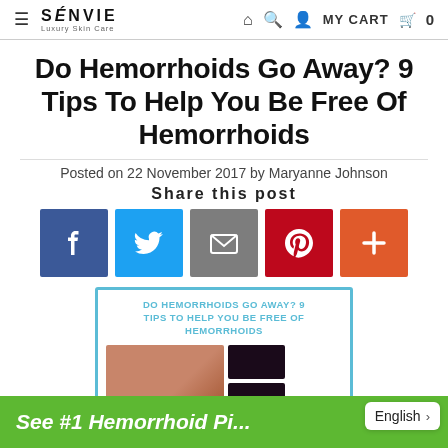≡  SÉNVIE Luxury Skin Care  🏠 🔍 👤 MY CART 🛒 0
Do Hemorrhoids Go Away? 9 Tips To Help You Be Free Of Hemorrhoids
Posted on 22 November 2017 by Maryanne Johnson
Share this post
[Figure (infographic): Social share buttons: Facebook (blue), Twitter (light blue), Email (gray), Pinterest (red), Plus/Add (orange-red)]
[Figure (infographic): Info card with blue border. Title: DO HEMORRHOIDS GO AWAY? 9 TIPS TO HELP YOU BE FREE OF HEMORRHOIDS. Below are medical images of hemorrhoids.]
See #1 Hemorrhoid Pi...